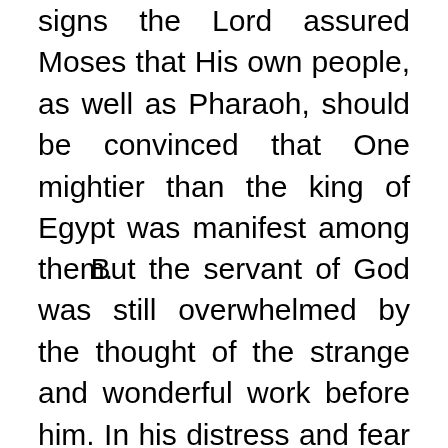signs the Lord assured Moses that His own people, as well as Pharaoh, should be convinced that One mightier than the king of Egypt was manifest among them.
But the servant of God was still overwhelmed by the thought of the strange and wonderful work before him. In his distress and fear he now pleaded as an excuse a